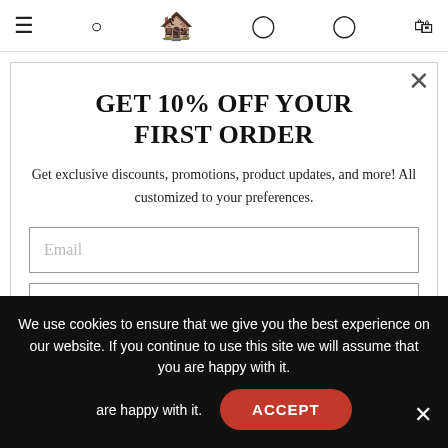Navigation bar with menu, search, logo, account, wishlist, cart icons
GET 10% OFF YOUR FIRST ORDER
Get exclusive discounts, promotions, product updates, and more! All customized to your preferences.
Email (input field)
What kind of products do you buy? (input field, partially visible)
We use cookies to ensure that we give you the best experience on our website. If you continue to use this site we will assume that you are happy with it.
ACCEPT